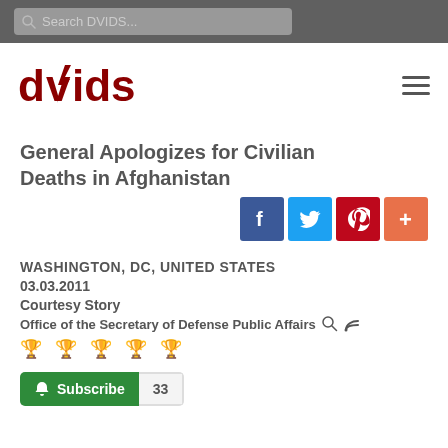Search DVIDS...
[Figure (logo): DVIDS logo in dark red with lightning bolt through the 'v']
General Apologizes for Civilian Deaths in Afghanistan
WASHINGTON, DC, UNITED STATES
03.03.2011
Courtesy Story
Office of the Secretary of Defense Public Affairs
Subscribe 33